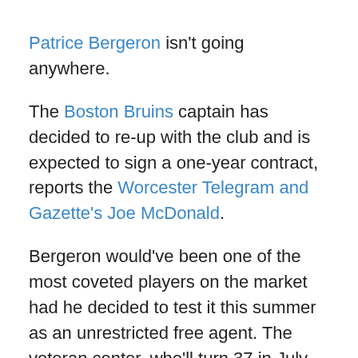Patrice Bergeron isn't going anywhere.
The Boston Bruins captain has decided to re-up with the club and is expected to sign a one-year contract, reports the Worcester Telegram and Gazette's Joe McDonald.
Bergeron would've been one of the most coveted players on the market had he decided to test it this summer as an unrestricted free agent. The veteran center, who'll turn 37 in July, won the Selke Trophy as the NHL's best defensive forward for a league-record fifth time earlier this spring.
He had a stellar 2021-22 season despite his age. Bergeron collected 25 goals and 40 assists over 73 contests. The versatile forward was his typically dominant self in terms of possession and defense as well. He led all